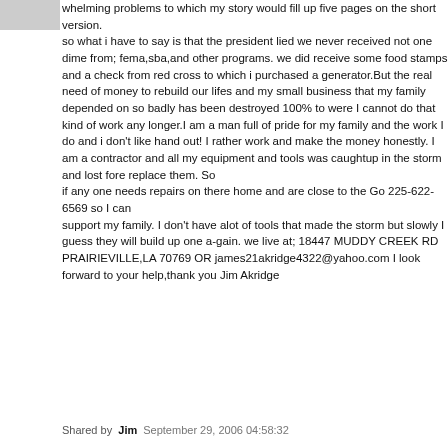whelming problems to which my story would fill up five pages on the short version. so what i have to say is that the president lied we never received not one dime from; fema,sba,and other programs. we did receive some food stamps and a check from red cross to which i purchased a generator.But the real need of money to rebuild our lifes and my small business that my family depended on so badly has been destroyed 100% to were I cannot do that kind of work any longer.I am a man full of pride for my family and the work I do and i don't like hand out! I rather work and make the money honestly. I am a contractor and all my equipment and tools was caughtup in the storm and lost fore replace them. So if any one needs repairs on there home and are close to the Go 225-622-6569 so I can support my family. I don't have alot of tools that made the storm but slowly I guess they will build up one a-gain. we live at; 18447 MUDDY CREEK RD PRAIRIEVILLE,LA 70769 OR james21akridge4322@yahoo.com I look forward to your help,thank you Jim Akridge
Shared by Jim September 29, 2006 04:58:32